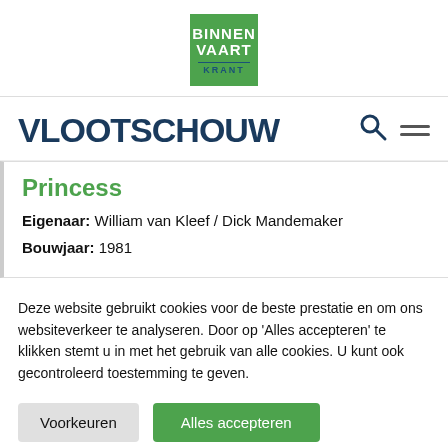BINNEN VAART KRANT
VLOOTSCHOUW
Princess
Eigenaar: William van Kleef / Dick Mandemaker
Bouwjaar: 1981
Deze website gebruikt cookies voor de beste prestatie en om ons websiteverkeer te analyseren. Door op 'Alles accepteren' te klikken stemt u in met het gebruik van alle cookies. U kunt ook gecontroleerd toestemming te geven.
Voorkeuren
Alles accepteren